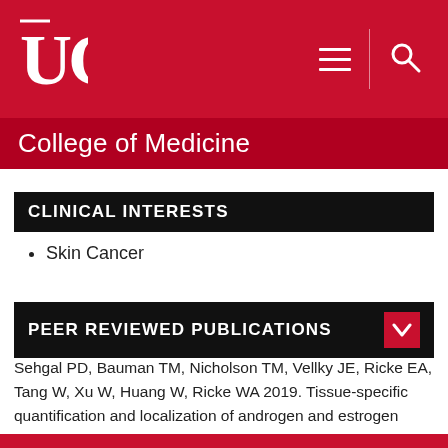UC College of Medicine
CLINICAL INTERESTS
Skin Cancer
PEER REVIEWED PUBLICATIONS
Sehgal PD, Bauman TM, Nicholson TM, Vellky JE, Ricke EA, Tang W, Xu W, Huang W, Ricke WA 2019. Tissue-specific quantification and localization of androgen and estrogen receptors in prostate cancer. Human Pathology, 0 0, (In Press)